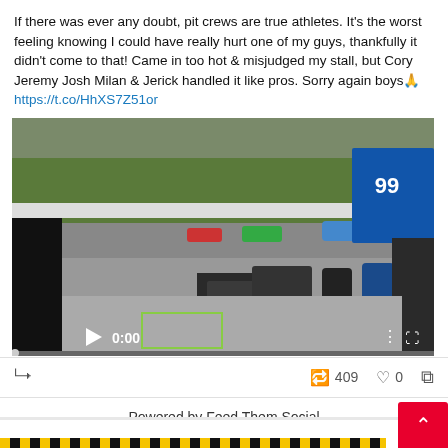If there was ever any doubt, pit crews are true athletes. It's the worst feeling knowing I could have really hurt one of my guys, thankfully it didn't come to that! Came in too hot & misjudged my stall, but Cory Jeremy Josh Milan & Jerick handled it like pros. Sorry again boys🙏 https://t.co/HhXS7Z51or
[Figure (photo): Video thumbnail showing a NASCAR pit stop scene with pit crew members working on a race car, track visible in background. Video player shows 0:00 timestamp with play button and progress bar.]
↩ 409   ♡ 0   ⧉
Powered by Feed Them Social